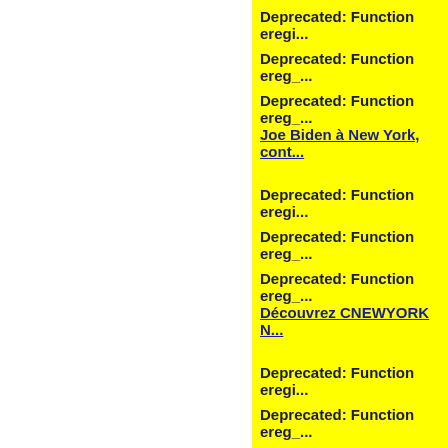Deprecated: Function eregi...
Deprecated: Function ereg_...
Deprecated: Function ereg_...
Joe Biden à New York, cont...
Deprecated: Function eregi...
Deprecated: Function ereg_...
Deprecated: Function ereg_...
Découvrez CNEWYORK N...
Deprecated: Function eregi...
Deprecated: Function ereg_...
Deprecated: Function ereg_...
Le maire de New York, un a...